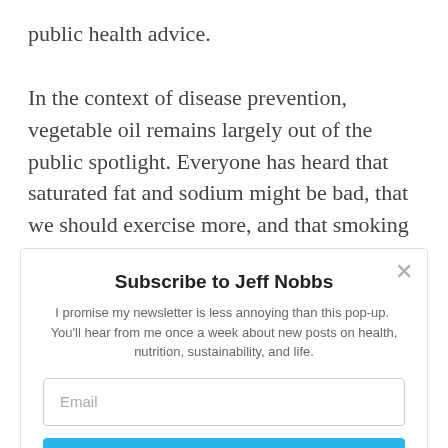public health advice.

In the context of disease prevention, vegetable oil remains largely out of the public spotlight. Everyone has heard that saturated fat and sodium might be bad, that we should exercise more, and that smoking cigarettes is harmful, but how many people have considered their
Subscribe to Jeff Nobbs
I promise my newsletter is less annoying than this pop-up. You'll hear from me once a week about new posts on health, nutrition, sustainability, and life.